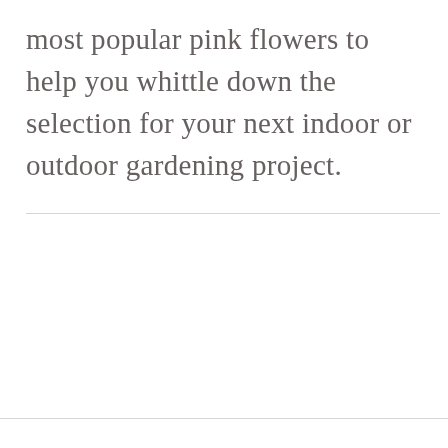most popular pink flowers to help you whittle down the selection for your next indoor or outdoor gardening project.